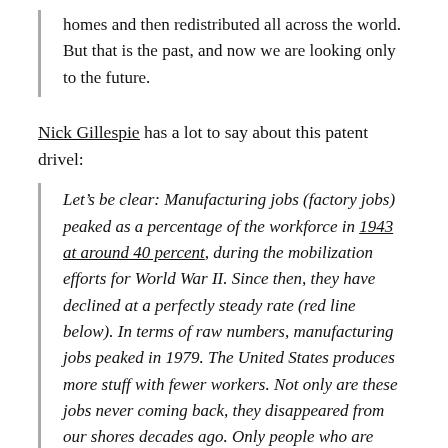homes and then redistributed all across the world. But that is the past, and now we are looking only to the future.
Nick Gillespie has a lot to say about this patent drivel:
Let’s be clear: Manufacturing jobs (factory jobs) peaked as a percentage of the workforce in 1943 at around 40 percent, during the mobilization efforts for World War II. Since then, they have declined at a perfectly steady rate (red line below). In terms of raw numbers, manufacturing jobs peaked in 1979. The United States produces more stuff with fewer workers. Not only are these jobs never coming back, they disappeared from our shores decades ago. Only people who are